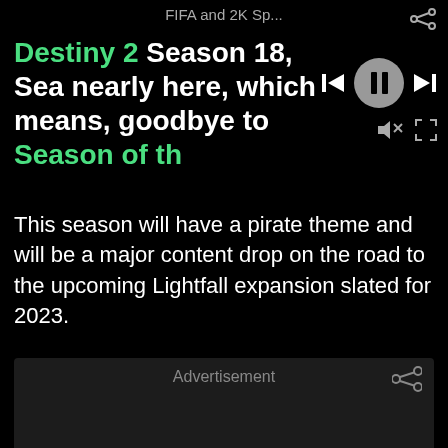FIFA and 2K Sp...
Destiny 2 Season 18, Sea nearly here, which means, goodbye to Season of th
This season will have a pirate theme and will be a major content drop on the road to the upcoming Lightfall expansion slated for 2023.
[Figure (other): Advertisement block with share icon]
Here’s what we know so far about Destiny 2 Season 18, including its release date, details on